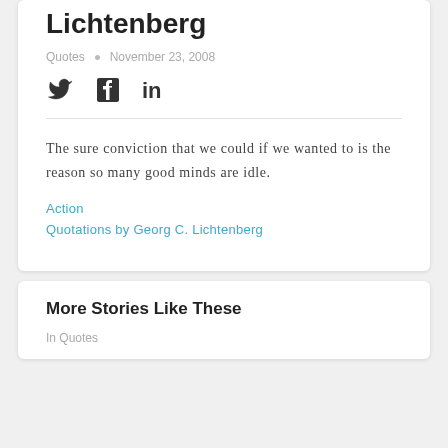Lichtenberg
Quotes • November 23, 2008
[Figure (infographic): Social media share icons: Twitter bird, Facebook F, LinkedIn in]
The sure conviction that we could if we wanted to is the reason so many good minds are idle.
Action
Quotations by Georg C. Lichtenberg
More Stories Like These
In Quotes